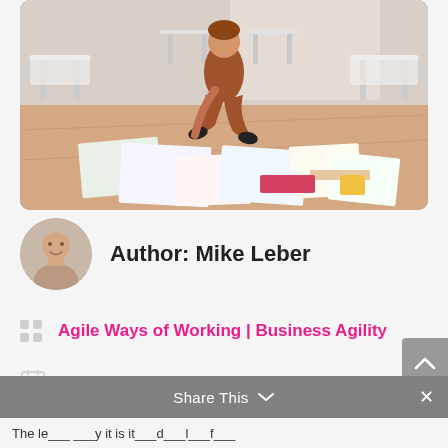[Figure (photo): Person sitting cross-legged on floor surrounded by papers and documents in an office setting with chairs around a table]
Author: Mike Leber
Agile Ways of Working | Business Agility
July 23, 2020
Share This